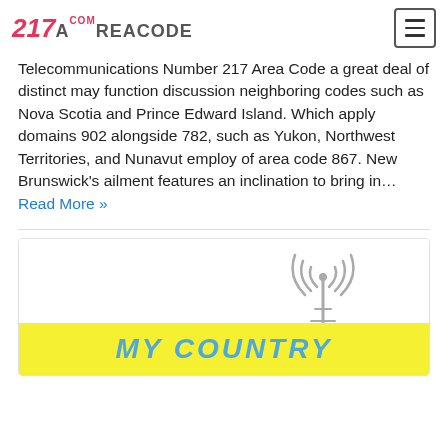217 AREACODE.COM
Telecommunications Number 217 Area Code a great deal of distinct may function discussion neighboring codes such as Nova Scotia and Prince Edward Island. Which apply domains 902 alongside 782, such as Yukon, Northwest Territories, and Nunavut employ of area code 867. New Brunswick's ailment features an inclination to bring in… Read More »
[Figure (illustration): MY COUNTRY text banner with radio antenna illustration on yellow background strip]